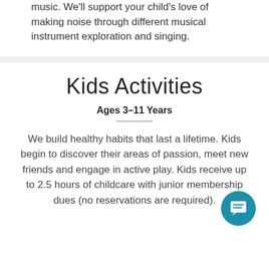music. We'll support your child's love of making noise through different musical instrument exploration and singing.
Kids Activities
Ages 3–11 Years
We build healthy habits that last a lifetime. Kids begin to discover their areas of passion, meet new friends and engage in active play. Kids receive up to 2.5 hours of childcare with junior membership dues (no reservations are required).